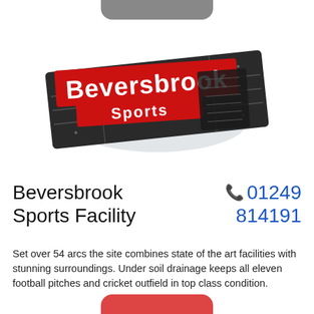[Figure (logo): Beversbrook Sports Facility logo — red banner with 'Beversbrook' in white text and 'Sports' below, overlaid on a dark textured graphic background with circuit-board-like patterns]
Beversbrook Sports Facility
📞 01249 814191
Set over 54 arcs the site combines state of the art facilities with stunning surroundings. Under soil drainage keeps all eleven football pitches and cricket outfield in top class condition.